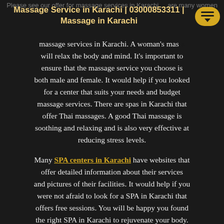Massage Service in Karachi | 03000853311 | Massage in Karachi
massage services in Karachi. A woman's mas... will relax the body and mind. It's important to ensure that the massage service you choose is both male and female. It would help if you looked for a center that suits your needs and budget massage services. There are spas in Karachi that offer Thai massages. A good Thai massage is soothing and relaxing and is also very effective at reducing stress levels.
Many SPA centers in Karachi have websites that offer detailed information about their services and pictures of their facilities. It would help if you were not afraid to look for a SPA in Karachi that offers free sessions. You will be happy you found the right SPA in Karachi to rejuvenate your body. If you're in Karachi, don't worry about getting a message that's not free, and you'll feel better